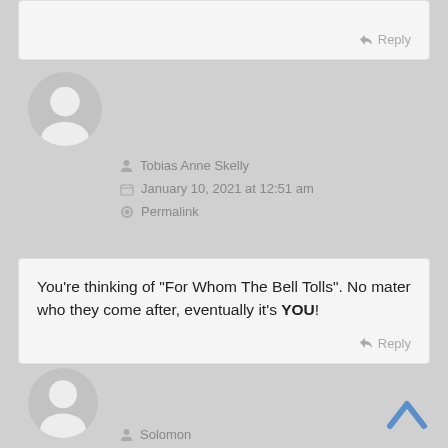Reply
Tobias Anne Skelly
January 10, 2021 at 12:51 am
Permalink
You’re thinking of “For Whom The Bell Tolls”. No mater who they come after, eventually it’s YOU!
Reply
Solomon